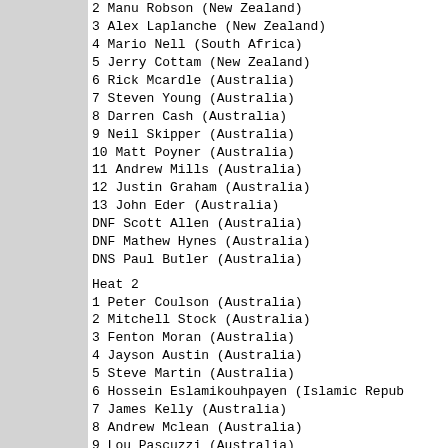2 Manu Robson (New Zealand)
3 Alex Laplanche (New Zealand)
4 Mario Nell (South Africa)
5 Jerry Cottam (New Zealand)
6 Rick Mcardle (Australia)
7 Steven Young (Australia)
8 Darren Cash (Australia)
9 Neil Skipper (Australia)
10 Matt Poyner (Australia)
11 Andrew Mills (Australia)
12 Justin Graham (Australia)
13 John Eder (Australia)
DNF Scott Allen (Australia)
DNF Mathew Hynes (Australia)
DNS Paul Butler (Australia)
Heat 2
1 Peter Coulson (Australia)
2 Mitchell Stock (Australia)
3 Fenton Moran (Australia)
4 Jayson Austin (Australia)
5 Steve Martin (Australia)
6 Hossein Eslamikouhpayen (Islamic Republic of Iran)
7 James Kelly (Australia)
8 Andrew Mclean (Australia)
9 Lou Pascuzzi (Australia)
10 Brett Fenton (Australia)
11 David Mann (Australia)
12 David Walton (Australia)
13 Stew Campbell (Australia)
14 Jamie Ruddy (Australia)
15 Scott Robinson (Australia)